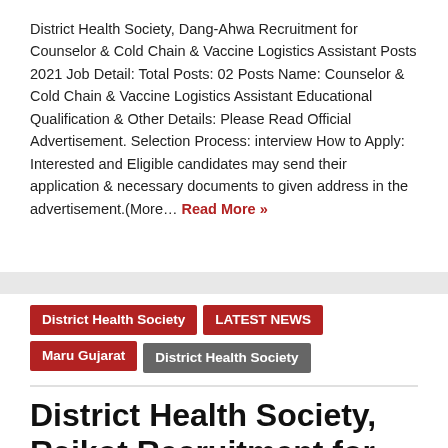District Health Society, Dang-Ahwa Recruitment for Counselor & Cold Chain & Vaccine Logistics Assistant Posts 2021 Job Detail: Total Posts: 02 Posts Name: Counselor & Cold Chain & Vaccine Logistics Assistant Educational Qualification & Other Details: Please Read Official Advertisement. Selection Process: interview How to Apply: Interested and Eligible candidates may send their application & necessary documents to given address in the advertisement.(More… Read More »
District Health Society
LATEST NEWS
Maru Gujarat
District Health Society
District Health Society, Rajkot Recruitment for Various Posts